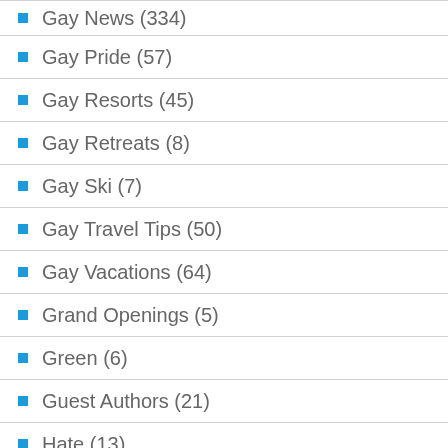Gay News (334)
Gay Pride (57)
Gay Resorts (45)
Gay Retreats (8)
Gay Ski (7)
Gay Travel Tips (50)
Gay Vacations (64)
Grand Openings (5)
Green (6)
Guest Authors (21)
Hate (13)
Hawaii (15)
Holidays (21)
Hostels (4)